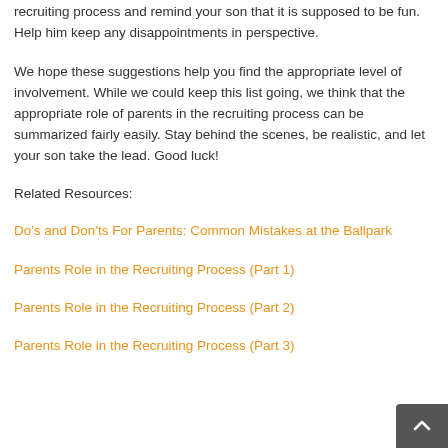recruiting process and remind your son that it is supposed to be fun. Help him keep any disappointments in perspective.
We hope these suggestions help you find the appropriate level of involvement. While we could keep this list going, we think that the appropriate role of parents in the recruiting process can be summarized fairly easily. Stay behind the scenes, be realistic, and let your son take the lead. Good luck!
Related Resources:
Do's and Don'ts For Parents: Common Mistakes at the Ballpark
Parents Role in the Recruiting Process (Part 1)
Parents Role in the Recruiting Process (Part 2)
Parents Role in the Recruiting Process (Part 3)